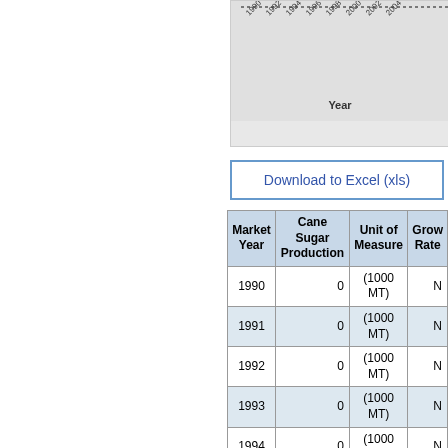[Figure (other): Partial view of a chart with x-axis year labels (1990–2004) and 'Year' axis title, on grey background]
Download to Excel (xls)
| Market Year | Cane Sugar Production | Unit of Measure | Growth Rate |
| --- | --- | --- | --- |
| 1990 | 0 | (1000 MT) | N |
| 1991 | 0 | (1000 MT) | N |
| 1992 | 0 | (1000 MT) | N |
| 1993 | 0 | (1000 MT) | N |
| 1994 | 0 | (1000 MT) | N |
| 1995 | 0 | (1000 MT) | N |
| 1996 | 0 | (1000 MT) | N |
| 1997 | 0 | (1000 MT) | N |